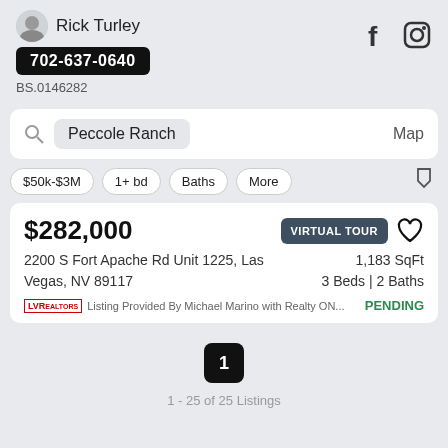Rick Turley
702-637-0640
BS.0146282
Peccole Ranch
Map
$50k-$3M  1+ bd  Baths  More
$282,000
VIRTUAL TOUR
2200 S Fort Apache Rd Unit 1225, Las Vegas, NV 89117
1,183 SqFt
3 Beds | 2 Baths
Listing Provided By Michael Marino with Realty ON...
PENDING
1
1 - 25 of 25 Listings